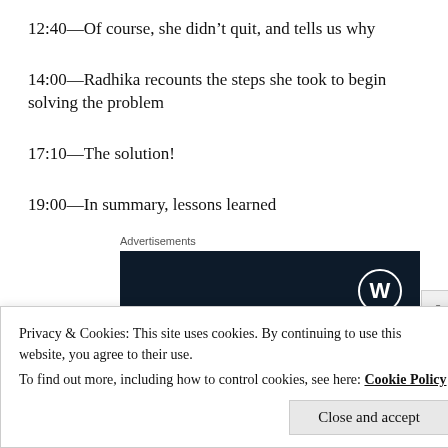12:40—Of course, she didn't quit, and tells us why
14:00—Radhika recounts the steps she took to begin solving the problem
17:10—The solution!
19:00—In summary, lessons learned
Advertisements
[Figure (logo): WordPress logo (white circle W on dark navy background) advertisement banner]
Privacy & Cookies: This site uses cookies. By continuing to use this website, you agree to their use.
To find out more, including how to control cookies, see here: Cookie Policy
Close and accept